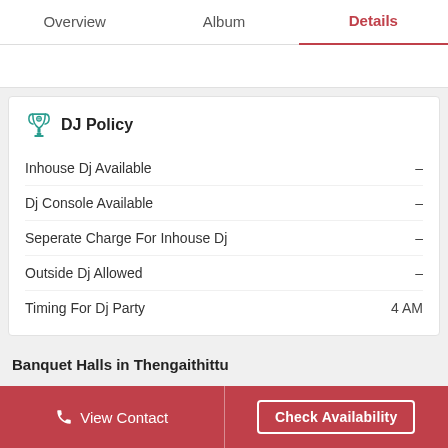Overview  Album  Details
DJ Policy
|  |  |
| --- | --- |
| Inhouse Dj Available | - |
| Dj Console Available | - |
| Seperate Charge For Inhouse Dj | - |
| Outside Dj Allowed | - |
| Timing For Dj Party | 4 AM |
Banquet Halls in Thengaithittu
View Contact  Check Availability